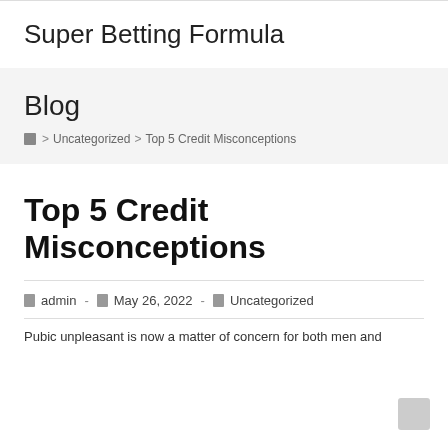Super Betting Formula
Blog
🏠 > Uncategorized > Top 5 Credit Misconceptions
Top 5 Credit Misconceptions
admin - May 26, 2022 - Uncategorized
Pubic unpleasant is now a matter of concern for both men and